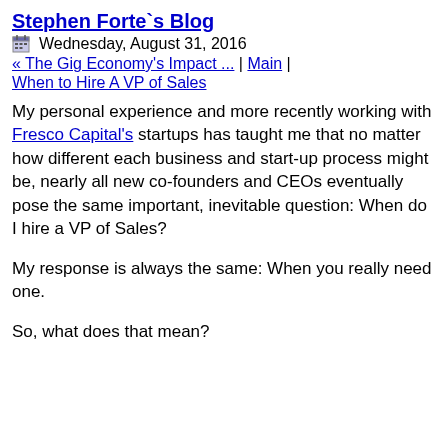Stephen Forte`s Blog
Wednesday, August 31, 2016
« The Gig Economy's Impact ... | Main | When to Hire A VP of Sales
My personal experience and more recently working with Fresco Capital's startups has taught me that no matter how different each business and start-up process might be, nearly all new co-founders and CEOs eventually pose the same important, inevitable question: When do I hire a VP of Sales?
My response is always the same: When you really need one.
So, what does that mean?